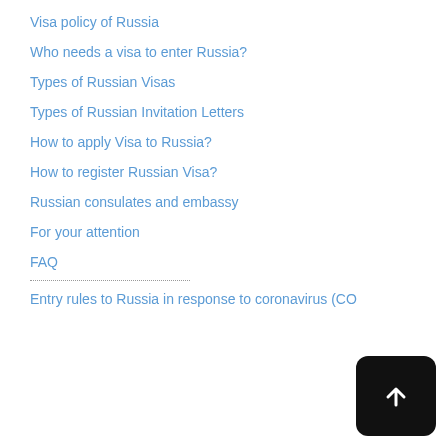Visa policy of Russia
Who needs a visa to enter Russia?
Types of Russian Visas
Types of Russian Invitation Letters
How to apply Visa to Russia?
How to register Russian Visa?
Russian consulates and embassy
For your attention
FAQ
Entry rules to Russia in response to coronavirus (CO...
[Figure (other): Back to top button — black rounded rectangle with white upward arrow]